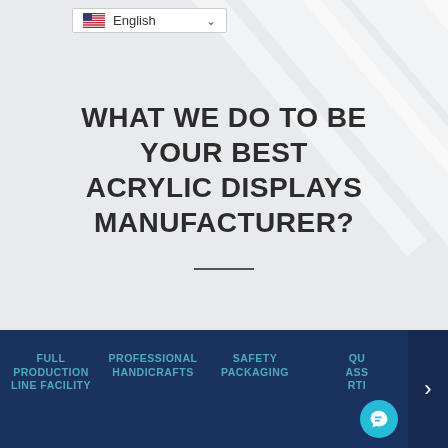[Figure (screenshot): Website screenshot with US flag English language selector dropdown at top]
WHAT WE DO TO BE YOUR BEST ACRYLIC DISPLAYS MANUFACTURER?
FULL PRODUCTION LINE FACILITY
PROFESSIONAL HANDICRAFTS
SAFETY PACKAGING
QU ASS RTI